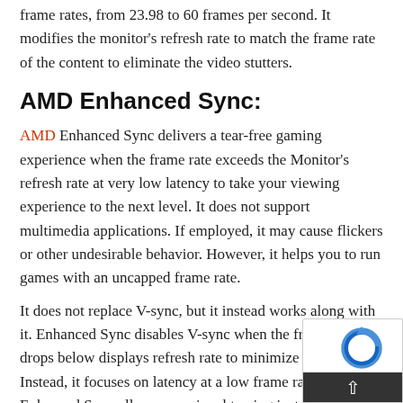frame rates, from 23.98 to 60 frames per second. It modifies the monitor's refresh rate to match the frame rate of the content to eliminate the video stutters.
AMD Enhanced Sync:
AMD Enhanced Sync delivers a tear-free gaming experience when the frame rate exceeds the Monitor's refresh rate at very low latency to take your viewing experience to the next level. It does not support multimedia applications. If employed, it may cause flickers or other undesirable behavior. However, it helps you to run games with an uncapped frame rate.
It does not replace V-sync, but it instead works along with it. Enhanced Sync disables V-sync when the frame rate drops below displays refresh rate to minimize stutter. Instead, it focuses on latency at a low frame rate. Enhanced Sync allows occasional tearing instead of allowing the GPU to repeat the previous frame and lag a temporary stutter.